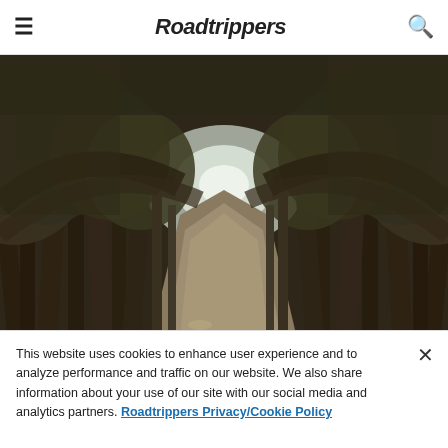☰  Roadtrippers  🔍
[Figure (photo): A tree-lined road forming a natural tunnel with tall cypress trees arching overhead, shot in muted brown and green tones, leading to a bright vanishing point in the distance.]
The Point Reyes Cypress tree tunnel
This website uses cookies to enhance user experience and to analyze performance and traffic on our website. We also share information about your use of our site with our social media and analytics partners. Roadtrippers Privacy/Cookie Policy